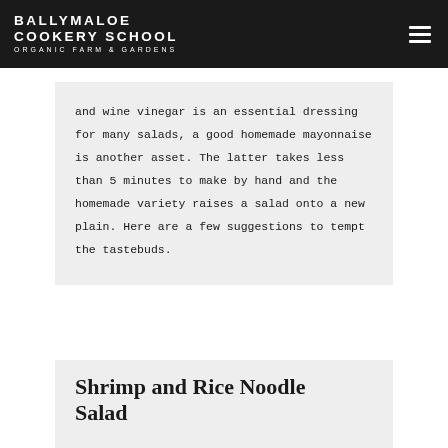BALLYMALOE COOKERY SCHOOL ORGANIC FARM & GARDENS
and wine vinegar is an essential dressing for many salads, a good homemade mayonnaise is another asset. The latter takes less than 5 minutes to make by hand and the homemade variety raises a salad onto a new plain. Here are a few suggestions to tempt the tastebuds.
Shrimp and Rice Noodle Salad